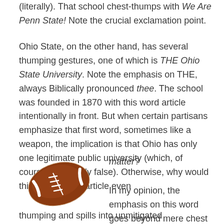(literally). That school chest-thumps with We Are Penn State! Note the crucial exclamation point.
Ohio State, on the other hand, has several thumping gestures, one of which is THE Ohio State University. Note the emphasis on THE, always Biblically pronounced thee. The school was founded in 1870 with this word article intentionally in front. But when certain partisans emphasize that first word, sometimes like a weapon, the implication is that Ohio has only one legitimate public university (which, of course, is patently false). Otherwise, why would this insignificant article even matter?
[Figure (illustration): A brown American football with white laces and white stripes]
In my opinion, the emphasis on this word goes beyond mere chest thumping and spills into unmitigated haughtiness.